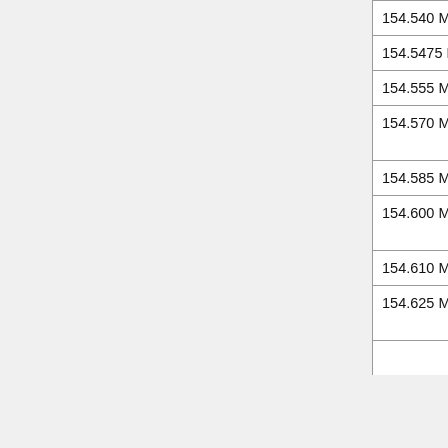| Frequency | Notes |
| --- | --- |
| 154.540 MHz |  |
| 154.5475 MHz |  |
| 154.555 MHz |  |
| 154.570 MHz | MURS Channel 4 - grandfathered businesses may continue to use at high power, 20 kHz bandwidth |
| 154.585 MHz | Oil Spill Cleanup - Mobiles |
| 154.600 MHz | MURS Channel 5 - grandfathered businesses may continue to use at high power, 20 kHz bandwidth |
| 154.610 MHz | Narrow band only - 6 kHz maximum bandwidth |
| 154.625 MHz | Fixed stations for paging systems, low power mobile stations also permitted |
| ... | Fixed stations for... |